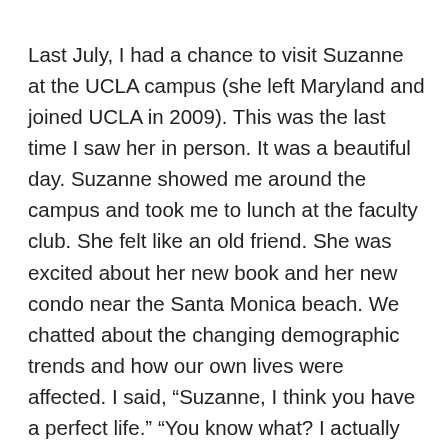Last July, I had a chance to visit Suzanne at the UCLA campus (she left Maryland and joined UCLA in 2009). This was the last time I saw her in person. It was a beautiful day. Suzanne showed me around the campus and took me to lunch at the faculty club. She felt like an old friend. She was excited about her new book and her new condo near the Santa Monica beach. We chatted about the changing demographic trends and how our own lives were affected. I said, “Suzanne, I think you have a perfect life.” “You know what? I actually agree with you” said Suzanne, with a smile on her face. It was a great moment.
Both being demographers, we know how American families have changed over time, and how challenging it is for a woman to balance work and family and to “have it all.” If there is anything I feel good about, it is the fact that